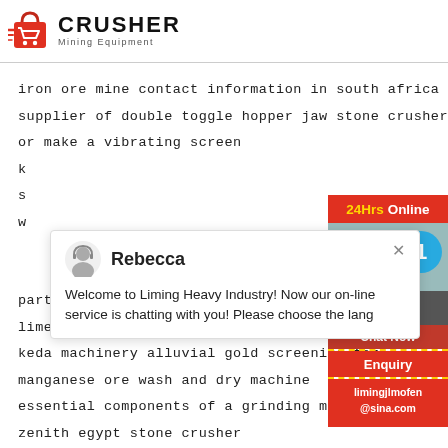[Figure (logo): Crusher Mining Equipment logo with red shopping bag icon and bold CRUSHER text]
iron ore mine contact information in south africa
supplier of double toggle hopper jaw stone crusher
or make a vibrating screen
k
s
w
[Figure (screenshot): Chat popup with Rebecca avatar, Liming Heavy Industry welcome message]
[Figure (infographic): Right sidebar with 24Hrs Online, Need & suggestions, Chat Now, Enquiry, limingjlmofen@sina.com, numbered badge 1]
parts of concrete batching plant
limestone grinder limestone mill
keda machinery alluvial gold screening for
manganese ore wash and dry machine
essential components of a grinding machine
zenith egypt stone crusher